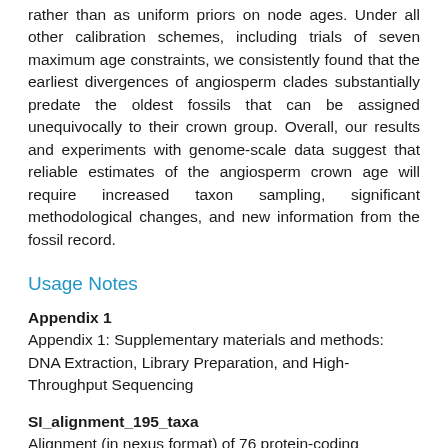rather than as uniform priors on node ages. Under all other calibration schemes, including trials of seven maximum age constraints, we consistently found that the earliest divergences of angiosperm clades substantially predate the oldest fossils that can be assigned unequivocally to their crown group. Overall, our results and experiments with genome-scale data suggest that reliable estimates of the angiosperm crown age will require increased taxon sampling, significant methodological changes, and new information from the fossil record.
Usage Notes
Appendix 1
Appendix 1: Supplementary materials and methods: DNA Extraction, Library Preparation, and High-Throughput Sequencing
SI_alignment_195_taxa
Alignment (in nexus format) of 76 protein-coding chloroplast